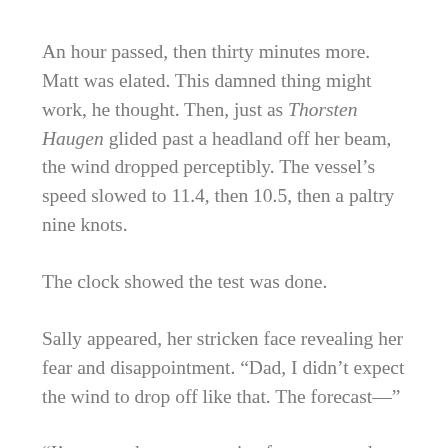An hour passed, then thirty minutes more. Matt was elated. This damned thing might work, he thought. Then, just as Thorsten Haugen glided past a headland off her beam, the wind dropped perceptibly. The vessel's speed slowed to 11.4, then 10.5, then a paltry nine knots.
The clock showed the test was done.
Sally appeared, her stricken face revealing her fear and disappointment. “Dad, I didn’t expect the wind to drop off like that. The forecast—”
“I’ve never known a marine forecast worth the paper it’s printed on,” Matt frowned, feeling as if he’d just stepped off a roller coaster. So much of life on the